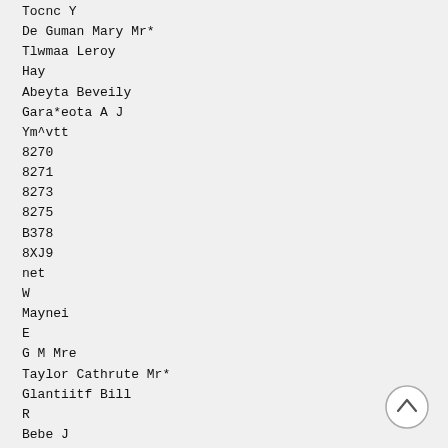Tocnc Y
De Guman Mary Mr*
Tlwmaa Leroy
Hay
Abeyta Beveily
Gara*eota A J
Ym^vtt
8270
8271
8273
8275
B378
8XJ9
net
W
Maynei
E
G M Mre
Taylor Cathrute Mr*
Glantiitf Bill
R
Bebe J
SilberfaaiM Leabe
Anything Iwerporatcd
C